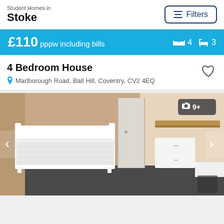Student Homes in Stoke
£110 pppw including bills  4  3
4 Bedroom House
Marlborough Road, Ball Hill, Coventry, CV2 4EQ
[Figure (photo): Interior bedroom photo showing a single white bed frame with white bedding, white wardrobe/door in background, white drawers unit, wooden shelf on wall, grey carpet. Photo count badge showing camera icon and 9+.]